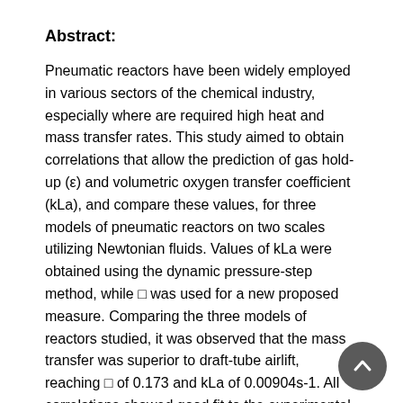Abstract:
Pneumatic reactors have been widely employed in various sectors of the chemical industry, especially where are required high heat and mass transfer rates. This study aimed to obtain correlations that allow the prediction of gas hold-up (ε) and volumetric oxygen transfer coefficient (kLa), and compare these values, for three models of pneumatic reactors on two scales utilizing Newtonian fluids. Values of kLa were obtained using the dynamic pressure-step method, while ε was used for a new proposed measure. Comparing the three models of reactors studied, it was observed that the mass transfer was superior to draft-tube airlift, reaching ε of 0.173 and kLa of 0.00904s-1. All correlations showed good fit to the experimental data (R2≥94%), and comparisons with correlations from the literature demonstrate the need for further similar